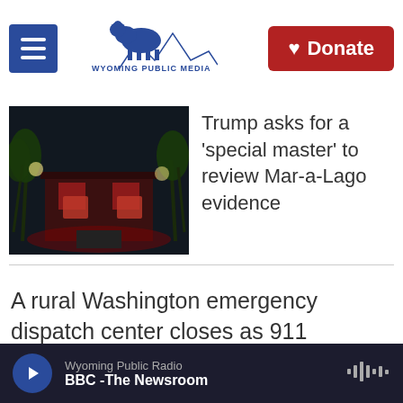Wyoming Public Media — Donate
[Figure (photo): Night-time exterior photo of Mar-a-Lago estate with palm trees and red lighting]
Trump asks for a 'special master' to review Mar-a-Lago evidence
A rural Washington emergency dispatch center closes as 911 operator shortage persists
Related Content
Wyoming Public Radio — BBC - The Newsroom